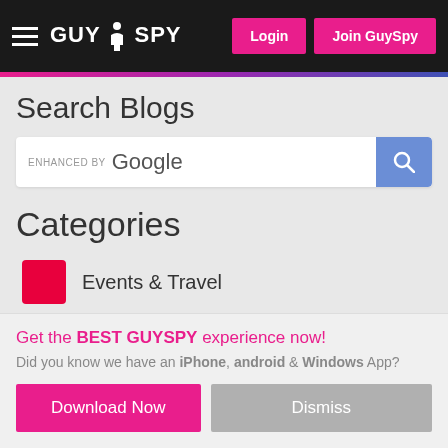GuySpy — Login | Join GuySpy
Search Blogs
[Figure (screenshot): Google search bar with 'ENHANCED BY Google' label and blue search button with magnifying glass icon]
Categories
Events & Travel
Celebrities & Gossip
Health & Fitness
Entertainment
Get the BEST GUYSPY experience now! Did you know we have an iPhone, android & Windows App?